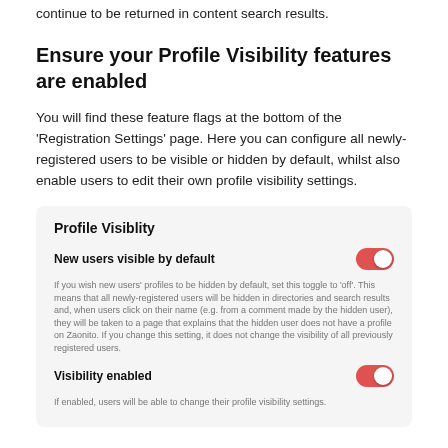continue to be returned in content search results.
Ensure your Profile Visibility features are enabled
You will find these feature flags at the bottom of the 'Registration Settings' page. Here you can configure all newly-registered users to be visible or hidden by default, whilst also enable users to edit their own profile visibility settings.
[Figure (screenshot): Screenshot of Profile Visibility settings panel showing two toggles: 'New users visible by default' (enabled, red toggle) with explanatory text, and 'Visibility enabled' (enabled, red toggle) with explanatory text 'If enabled, users will be able to change their profile visibility settings.']